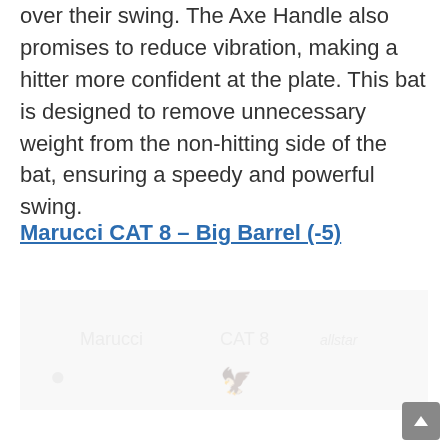over their swing. The Axe Handle also promises to reduce vibration, making a hitter more confident at the plate. This bat is designed to remove unnecessary weight from the non-hitting side of the bat, ensuring a speedy and powerful swing.
Marucci CAT 8 – Big Barrel (-5)
[Figure (photo): Faded/ghosted image of a baseball bat product, partially visible]